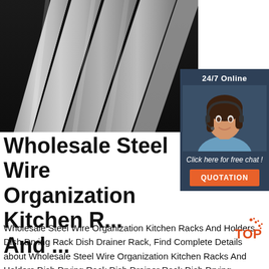[Figure (photo): Photo of stainless steel flat bar strips arranged diagonally on a dark surface]
[Figure (photo): Customer service representative with headset, smiling, overlay for 24/7 Online chat widget with orange QUOTATION button]
Wholesale Steel Wire Organization Kitchen R... And ...
Wholesale Steel Wire Organization Kitchen Racks And Holders Dish Drying Rack Dish Drainer Rack, Find Complete Details about Wholesale Steel Wire Organization Kitchen Racks And Holders Dish Drying Rack Dish Drainer Rack,Dish Drying